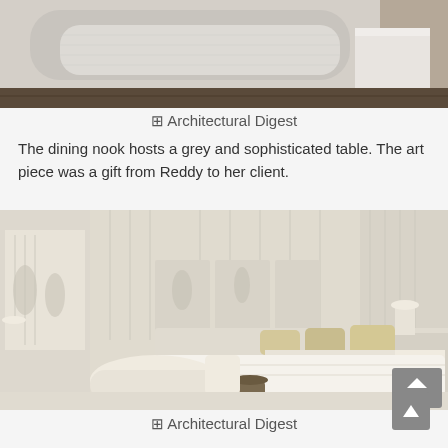[Figure (photo): Top portion of a bedroom interior showing a bed with grey/white bedding and a white nightstand on dark hardwood floor]
© Architectural Digest
The dining nook hosts a grey and sophisticated table. The art piece was a gift from Reddy to her client.
[Figure (photo): Luxurious all-white and cream bedroom with draped ceiling canopy, upholstered wall panels, decorative artwork, a chaise lounge, and a white bed with gold accent pillows]
© Architectural Digest